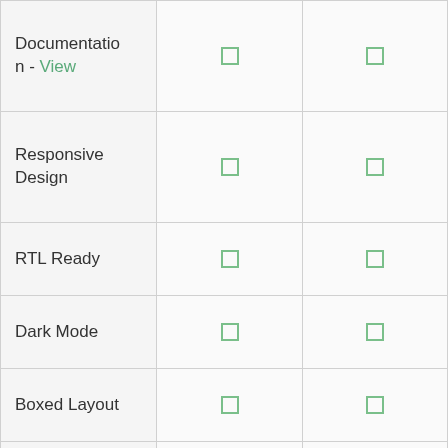| Feature | Col1 | Col2 |
| --- | --- | --- |
| Documentation - View | ✓ | ✓ |
| Responsive Design | ✓ | ✓ |
| RTL Ready | ✓ | ✓ |
| Dark Mode | ✓ | ✓ |
| Boxed Layout | ✓ | ✓ |
| 5 Featured/Grid Widget Layouts | ✓ | ✓ |
| 4 Sidebar Widget... | ✓ | ✓ |